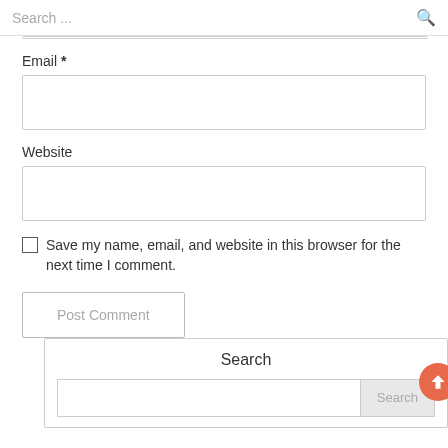Search ...
Email *
Website
Save my name, email, and website in this browser for the next time I comment.
Post Comment
Search
Search